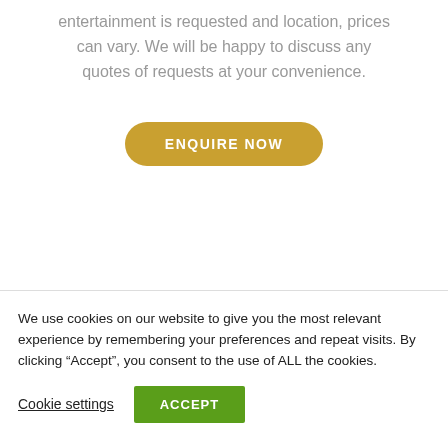entertainment is requested and location, prices can vary. We will be happy to discuss any quotes of requests at your convenience.
[Figure (other): A rounded button with golden/amber background and white bold uppercase text reading ENQUIRE NOW]
We use cookies on our website to give you the most relevant experience by remembering your preferences and repeat visits. By clicking “Accept”, you consent to the use of ALL the cookies.
Cookie settings
[Figure (other): A rectangular green button with white bold uppercase text reading ACCEPT]